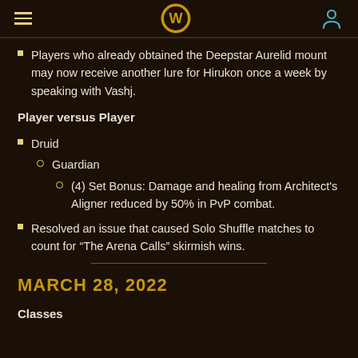World of Warcraft navigation header
Players who already obtained the Deepstar Aurelid mount may now receive another lure for Hirukon once a week by speaking with Vashj.
Player versus Player
Druid
Guardian
(4) Set Bonus: Damage and healing from Architect's Aligner reduced by 50% in PvP combat.
Resolved an issue that caused Solo Shuffle matches to count for “The Arena Calls” skirmish wins.
MARCH 28, 2022
Classes